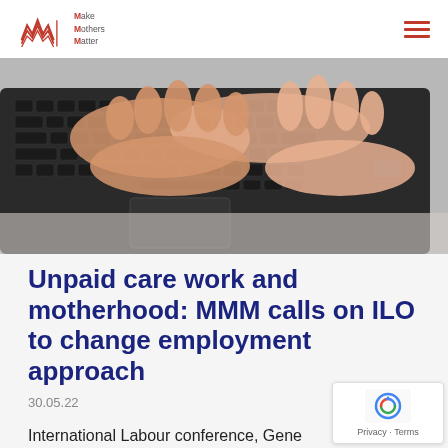Make Mothers Matter
[Figure (photo): Close-up photo of two pairs of hands typing on a laptop keyboard]
Unpaid care work and motherhood: MMM calls on ILO to change employment approach
30.05.22
International Labour conference, Gene
To redress the economic injustice suff